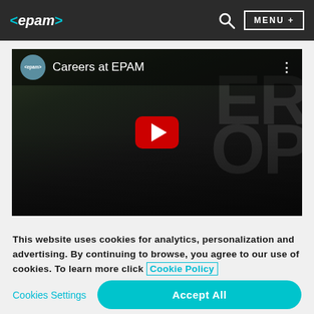<epam> MENU +
[Figure (screenshot): YouTube-style video thumbnail showing 'Careers at EPAM' with EPAM channel icon, dark background with people and large faded text, and a red play button in the center]
This website uses cookies for analytics, personalization and advertising. By continuing to browse, you agree to our use of cookies. To learn more click Cookie Policy
Cookies Settings    Accept All